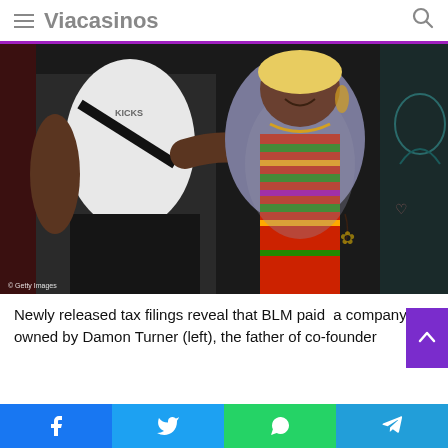Viacasinos
[Figure (photo): Two people posing together at an event. Left person wears a white long-sleeve shirt and black pants. Right person wears a grey patterned dress with a colorful kente cloth sash. Decorative painted background behind them. Getty Images watermark visible.]
Newly released tax filings reveal that BLM paid  a company owned by Damon Turner (left), the father of co-founder
Facebook share, Twitter share, WhatsApp share, Telegram share